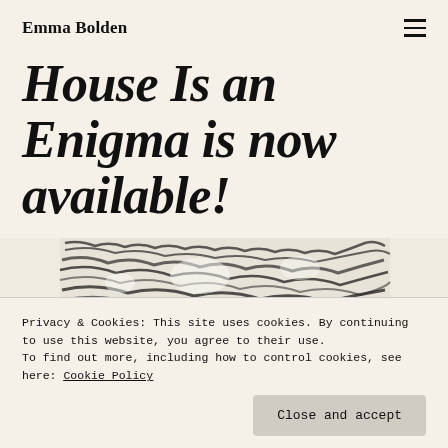Emma Bolden
House Is an Enigma is now available!
[Figure (illustration): Black and white artistic illustration showing abstract fur/foliage textures with ink-drawn animals or figures below]
Privacy & Cookies: This site uses cookies. By continuing to use this website, you agree to their use.
To find out more, including how to control cookies, see here: Cookie Policy
Close and accept